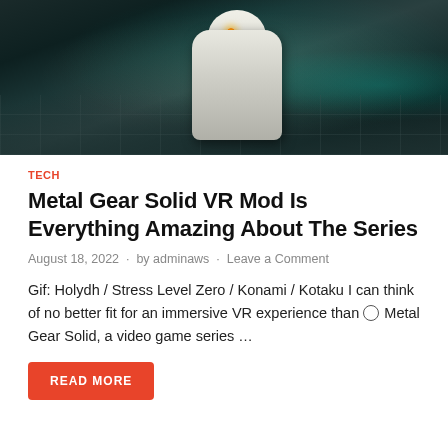[Figure (screenshot): Dark teal-toned video game screenshot showing a white armored figure with a glowing yellow eye standing in a dark industrial environment with metal containers and a glowing teal surface in the background.]
TECH
Metal Gear Solid VR Mod Is Everything Amazing About The Series
August 18, 2022  ·  by adminaws  ·  Leave a Comment
Gif: Holydh / Stress Level Zero / Konami / Kotaku I can think of no better fit for an immersive VR experience than ⌀ Metal Gear Solid, a video game series …
READ MORE